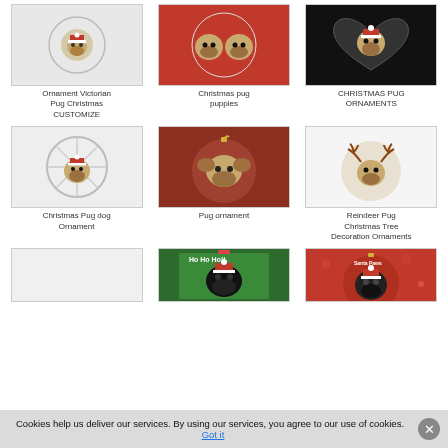[Figure (photo): Product grid of Christmas pug ornaments - 3 rows of 3 items each]
Ornament Victorian Pug Christmas CUSTOMIZE
Christmas pug puppies
CHRISTMAS PUG ORNAMENTS
Christmas Pug dog Ornament
Pug ornament
Reindeer Pug Christmas Tree Decoration Ornaments
Cookies help us deliver our services. By using our services, you agree to our use of cookies. Got it